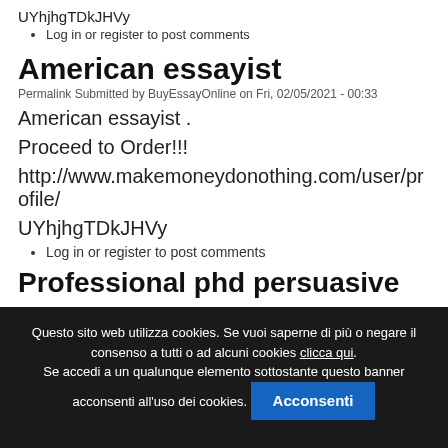UYhjhgTDkJHVy
Log in or register to post comments
American essayist
Permalink Submitted by BuyEssayOnline on Fri, 02/05/2021 - 00:33
American essayist .
Proceed to Order!!!
http://www.makemoneydonothing.com/user/profile/
UYhjhgTDkJHVy
Log in or register to post comments
Professional phd persuasive essay
Questo sito web utilizza cookies. Se vuoi saperne di più o negare il consenso a tutti o ad alcuni cookies clicca qui. Se accedi a un qualunque elemento sottostante questo banner acconsenti all'uso dei cookies. Acconsenti